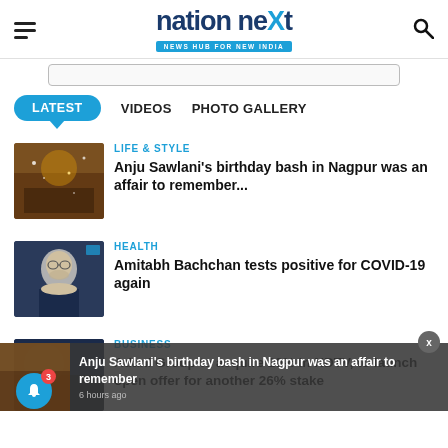nation neXt — NEWS HUB FOR NEW INDIA
LATEST   VIDEOS   PHOTO GALLERY
LIFE & STYLE
Anju Sawlani's birthday bash in Nagpur was an affair to remember...
HEALTH
Amitabh Bachchan tests positive for COVID-19 again
BUSINESS
Adani Group to acquire 29% in NDTV, to launch open offer for another 26% stake
Anju Sawlani's birthday bash in Nagpur was an affair to remember